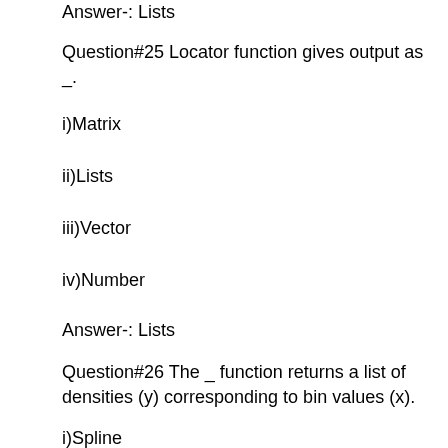Answer-: Lists
Question#25 Locator function gives output as _.
i)Matrix
ii)Lists
iii)Vector
iv)Number
Answer-: Lists
Question#26 The _ function returns a list of densities (y) corresponding to bin values (x).
i)Spline